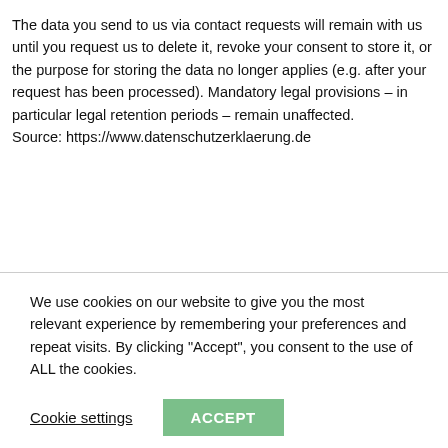The data you send to us via contact requests will remain with us until you request us to delete it, revoke your consent to store it, or the purpose for storing the data no longer applies (e.g. after your request has been processed). Mandatory legal provisions – in particular legal retention periods – remain unaffected. Source: https://www.datenschutzerklaerung.de
We use cookies on our website to give you the most relevant experience by remembering your preferences and repeat visits. By clicking "Accept", you consent to the use of ALL the cookies.
Cookie settings
ACCEPT